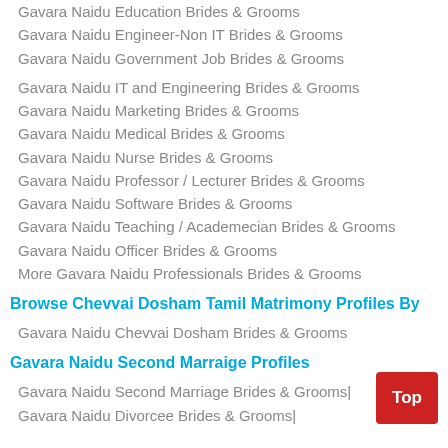Gavara Naidu Education Brides & Grooms
Gavara Naidu Engineer-Non IT Brides & Grooms
Gavara Naidu Government Job Brides & Grooms
Gavara Naidu IT and Engineering Brides & Grooms
Gavara Naidu Marketing Brides & Grooms
Gavara Naidu Medical Brides & Grooms
Gavara Naidu Nurse Brides & Grooms
Gavara Naidu Professor / Lecturer Brides & Grooms
Gavara Naidu Software Brides & Grooms
Gavara Naidu Teaching / Academecian Brides & Grooms
Gavara Naidu Officer Brides & Grooms
More Gavara Naidu Professionals Brides & Grooms
Browse Chevvai Dosham Tamil Matrimony Profiles By
Gavara Naidu Chevvai Dosham Brides & Grooms
Gavara Naidu Second Marraige Profiles
Gavara Naidu Second Marriage Brides & Grooms|
Gavara Naidu Divorcee Brides & Grooms|